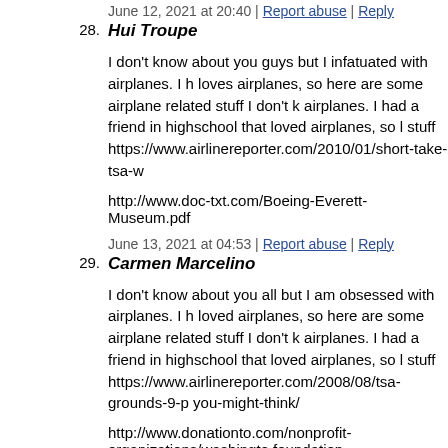June 12, 2021 at 20:40 | Report abuse | Reply
28. Hui Troupe
I don't know about you guys but I infatuated with airplanes. I h loves airplanes, so here are some airplane related stuff I don't k airplanes. I had a friend in highschool that loved airplanes, so l stuff https://www.airlinereporter.com/2010/01/short-take-tsa-w
http://www.doc-txt.com/Boeing-Everett-Museum.pdf
June 13, 2021 at 04:53 | Report abuse | Reply
29. Carmen Marcelino
I don't know about you all but I am obsessed with airplanes. I h loved airplanes, so here are some airplane related stuff I don't k airplanes. I had a friend in highschool that loved airplanes, so l stuff https://www.airlinereporter.com/2008/08/tsa-grounds-9-p you-might-think/
http://www.donationto.com/nonprofit-organizations/washingto foundation
June 13, 2021 at 06:54 | Report abuse | Reply
30. Leandro Silverwood
I don't know about you all but I infatuated with airplanes. I ha